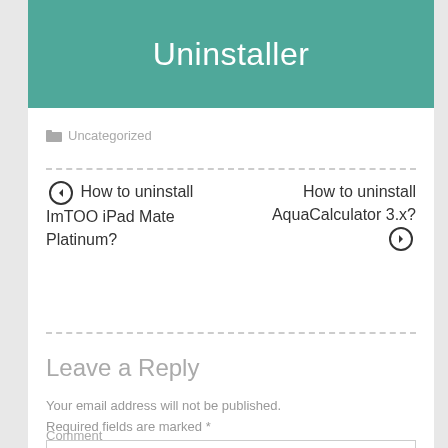Uninstaller
Uncategorized
← How to uninstall ImTOO iPad Mate Platinum?
How to uninstall AquaCalculator 3.x? →
Leave a Reply
Your email address will not be published. Required fields are marked *
Comment